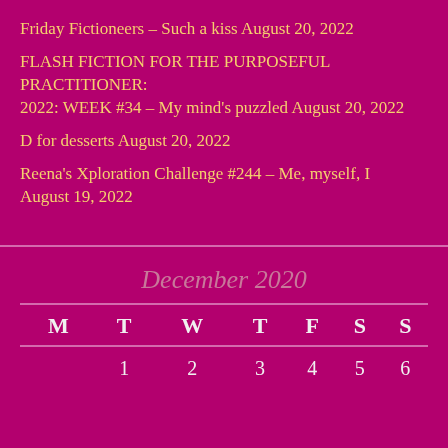Friday Fictioneers – Such a kiss August 20, 2022
FLASH FICTION FOR THE PURPOSEFUL PRACTITIONER: 2022: WEEK #34 – My mind's puzzled August 20, 2022
D for desserts August 20, 2022
Reena's Xploration Challenge #244 – Me, myself, I August 19, 2022
December 2020
| M | T | W | T | F | S | S |
| --- | --- | --- | --- | --- | --- | --- |
|  | 1 | 2 | 3 | 4 | 5 | 6 |